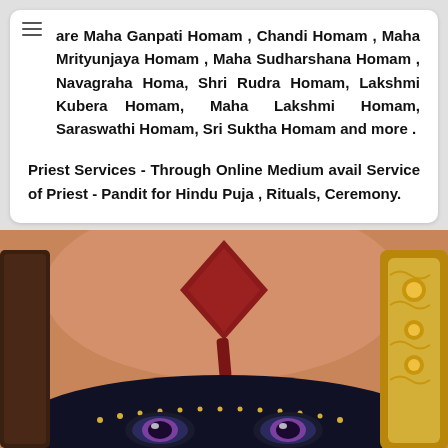are Maha Ganpati Homam , Chandi Homam , Maha Mrityunjaya Homam , Maha Sudharshana Homam , Navagraha Homa, Shri Rudra Homam, Lakshmi Kubera Homam, Maha Lakshmi Homam, Saraswathi Homam, Sri Suktha Homam and more .
Priest Services - Through Online Medium avail Service of Priest - Pandit for Hindu Puja , Rituals, Ceremony.
[Figure (photo): Close-up photograph of a Hindu deity idol face with ornate decorations. The deity has a red diamond-shaped mark (tilak) on the forehead, intricate dark eye makeup, and golden ornamental headdress/crown visible on the right side. The face has a warm terracotta/brown skin tone with detailed traditional adornments.]